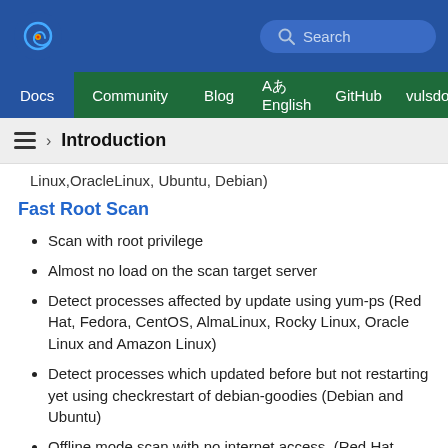[Figure (logo): Vuls spiral logo in top-left of blue header]
Search
Docs  Community  Blog  Aあ English  GitHub  vulsdoc
› Introduction
Linux,OracleLinux, Ubuntu, Debian)
Fast Root Scan
Scan with root privilege
Almost no load on the scan target server
Detect processes affected by update using yum-ps (Red Hat, Fedora, CentOS, AlmaLinux, Rocky Linux, Oracle Linux and Amazon Linux)
Detect processes which updated before but not restarting yet using checkrestart of debian-goodies (Debian and Ubuntu)
Offline mode scan with no internet access. (Red Hat,